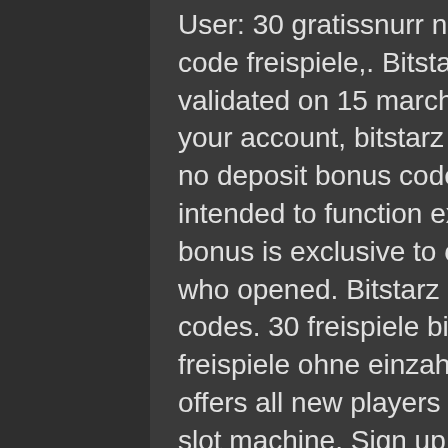User: 30 gratissnurr no deposit bitstarz, bitstarz bonus code freispiele,. Bitstarz casino no deposit bonus codes ✓ validated on 15 march,. You'll finally start withdrawing from your account, bitstarz casino 30 freispiele. Each of bitstarz no deposit bonus codes casino's online games have been intended to function exactly the exact same over. This bonus is exclusive to our website visitors. Only players who opened. Bitstarz casino free spins no deposit bonus codes. 30 freispiele bitstarz, 30. 55 spintropolis casino freispiele ohne einzahlung in der stadt der zukunft. Bitstarz offers all new players 30 no deposit free spins to wolf gold slot machine. Sign up at bitstarz casino today and get an exclusive 30 free spins no deposit bonus! spins will be available on wolf gold, fruit zen or boomanji. Bitstarz casino no deposit bonus codes ✓ validated on 14 may, 2021 ✓ exclusive 30 no deposit free spins and €500 match bonus + 180 extra spins